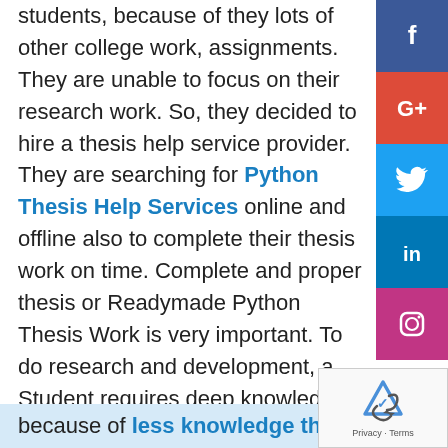students, because of they lots of other college work, assignments. They are unable to focus on their research work. So, they decided to hire a thesis help service provider. They are searching for Python Thesis Help Services online and offline also to complete their thesis work on time. Complete and proper thesis or Readymade Python Thesis Work is very important. To do research and development, a Student requires deep knowledge in their area of interest and working experience in research related to problems. But because of less knowledge they
[Figure (other): Social media share buttons sidebar: Facebook (blue), Google+ (red), Twitter (cyan), LinkedIn (blue), Instagram (pink)]
[Figure (other): Google reCAPTCHA widget with logo and Privacy - Terms links]